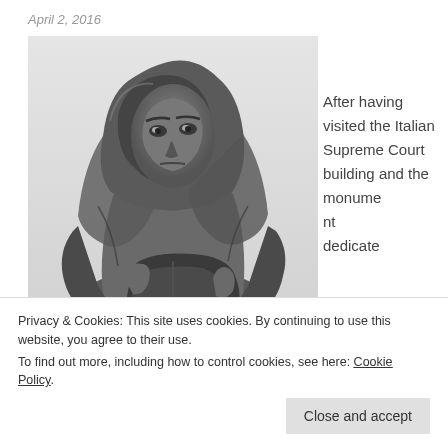April 2, 2016
[Figure (photo): Black and white close-up photograph of a stone statue of a hooded robed figure, appearing to be a medieval or Renaissance-era monk or scholar holding a book, looking intensely to the side. Likely the statue of Giordano Bruno in Campo de' Fiori, Rome.]
After having visited the Italian Supreme Court building and the monument dedicate
Privacy & Cookies: This site uses cookies. By continuing to use this website, you agree to their use.
To find out more, including how to control cookies, see here: Cookie Policy